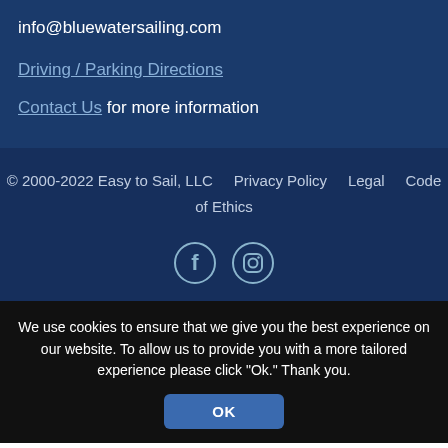info@bluewatersailing.com
Driving / Parking Directions
Contact Us for more information
© 2000-2022 Easy to Sail, LLC    Privacy Policy    Legal    Code of Ethics
[Figure (illustration): Facebook and Instagram social media icons in circular borders]
We use cookies to ensure that we give you the best experience on our website. To allow us to provide you with a more tailored experience please click "Ok." Thank you.